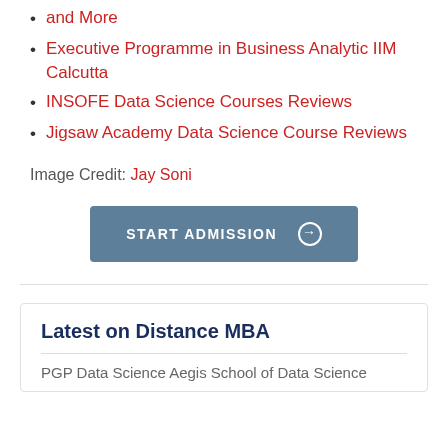and More
Executive Programme in Business Analytic IIM Calcutta
INSOFE Data Science Courses Reviews
Jigsaw Academy Data Science Course Reviews
Image Credit: Jay Soni
START ADMISSION ⊕
Latest on Distance MBA
PGP Data Science Aegis School of Data Science